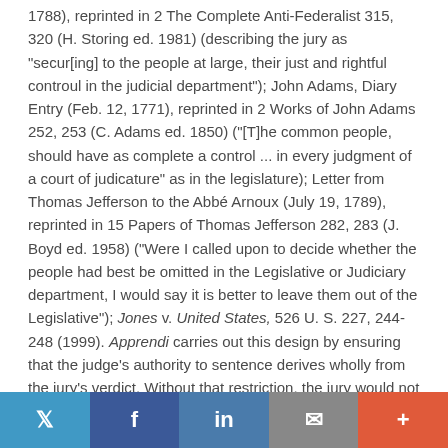1788), reprinted in 2 The Complete Anti-Federalist 315, 320 (H. Storing ed. 1981) (describing the jury as "secur[ing] to the people at large, their just and rightful controul in the judicial department"); John Adams, Diary Entry (Feb. 12, 1771), reprinted in 2 Works of John Adams 252, 253 (C. Adams ed. 1850) ("[T]he common people, should have as complete a control ... in every judgment of a court of judicature" as in the legislature); Letter from Thomas Jefferson to the Abbé Arnoux (July 19, 1789), reprinted in 15 Papers of Thomas Jefferson 282, 283 (J. Boyd ed. 1958) ("Were I called upon to decide whether the people had best be omitted in the Legislative or Judiciary department, I would say it is better to leave them out of the Legislative"); Jones v. United States, 526 U. S. 227, 244-248 (1999). Apprendi carries out this design by ensuring that the judge's authority to sentence derives wholly from the jury's verdict. Without that restriction, the jury would not exercise the control that the Framers
Twitter | Facebook | LinkedIn | Email | +